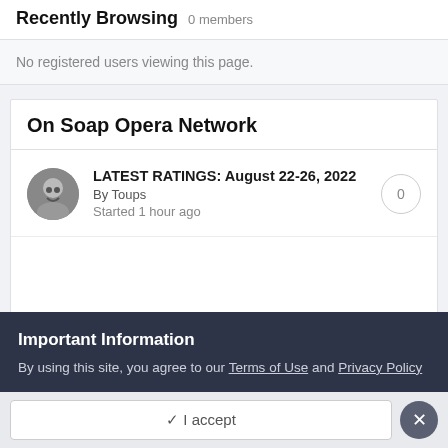Recently Browsing  0 members
No registered users viewing this page.
On Soap Opera Network
LATEST RATINGS: August 22-26, 2022
By Toups
Started 1 hour ago
Important Information
By using this site, you agree to our Terms of Use and Privacy Policy
✓ I accept